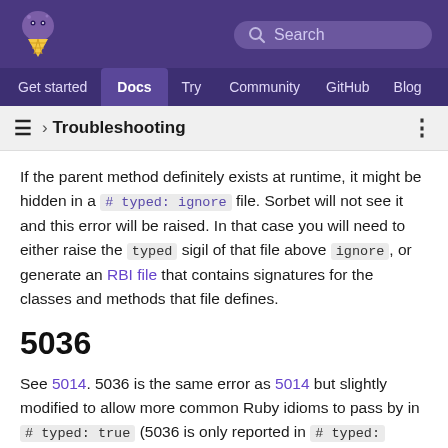Sorbet documentation site header with logo, search bar, and navigation: Get started, Docs (active), Try, Community, GitHub, Blog
› Troubleshooting
If the parent method definitely exists at runtime, it might be hidden in a # typed: ignore file. Sorbet will not see it and this error will be raised. In that case you will need to either raise the typed sigil of that file above ignore, or generate an RBI file that contains signatures for the classes and methods that file defines.
5036
See 5014. 5036 is the same error as 5014 but slightly modified to allow more common Ruby idioms to pass by in # typed: true (5036 is only reported in # typed: